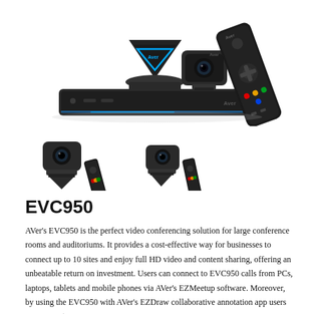[Figure (photo): AVer EVC950 video conferencing system showing the main unit, triangular speakerphone microphone with blue accent lighting, PTZ camera, and TV remote control arranged together on a flat surface.]
[Figure (photo): Two smaller images of PTZ cameras with remote controls, showing the EVC950 camera units.]
EVC950
AVer's EVC950 is the perfect video conferencing solution for large conference rooms and auditoriums. It provides a cost-effective way for businesses to connect up to 10 sites and enjoy full HD video and content sharing, offering an unbeatable return on investment. Users can connect to EVC950 calls from PCs, laptops, tablets and mobile phones via AVer's EZMeetup software. Moreover, by using the EVC950 with AVer's EZDraw collaborative annotation app users can access to an